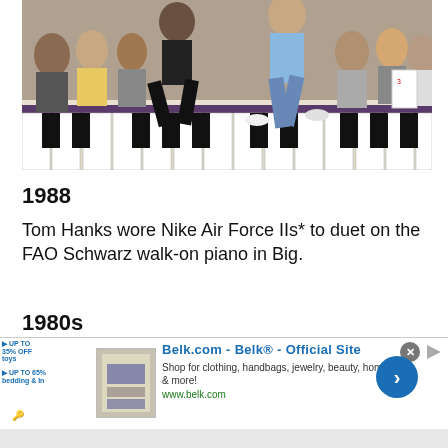[Figure (photo): Two people dancing/jumping on a large floor piano keyboard (FAO Schwarz) in a crowded store. One person wears black pants and a dark jacket, the other wears blue jeans and a light blue floral shirt. The crowd watches in the background.]
1988
Tom Hanks wore Nike Air Force IIs* to duet on the FAO Schwarz walk-on piano in Big.
1980s
[Figure (screenshot): Belk.com advertisement banner. Shows 'UP TO 35% OFF toys' and 'UP TO 65% bedding & In' promotions on left, a product image in center, Belk® Official Site title in blue, description text, www.belk.com URL, and a blue circular arrow button on the right. Close button (X) in top right corner.]